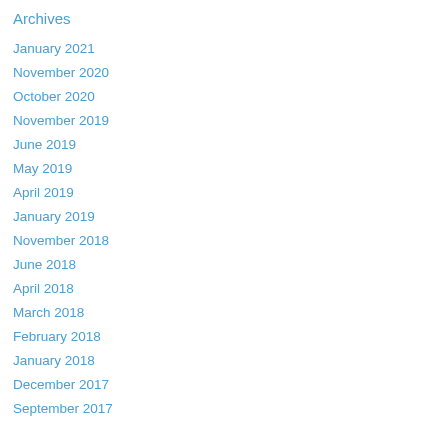Archives
January 2021
November 2020
October 2020
November 2019
June 2019
May 2019
April 2019
January 2019
November 2018
June 2018
April 2018
March 2018
February 2018
January 2018
December 2017
September 2017
May 2017
February 2017
January 2017